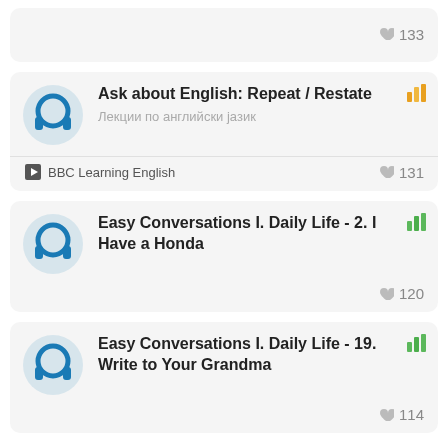[Figure (infographic): Partial top card showing likes count 133]
133
[Figure (infographic): Card: Ask about English: Repeat / Restate, Лекции по английски јазик, BBC Learning English, 131 likes]
Ask about English: Repeat / Restate
Лекции по английски јазик
BBC Learning English
131
[Figure (infographic): Card: Easy Conversations I. Daily Life - 2. I Have a Honda, 120 likes]
Easy Conversations I. Daily Life - 2. I Have a Honda
120
[Figure (infographic): Card: Easy Conversations I. Daily Life - 19. Write to Your Grandma, 114 likes]
Easy Conversations I. Daily Life - 19. Write to Your Grandma
114